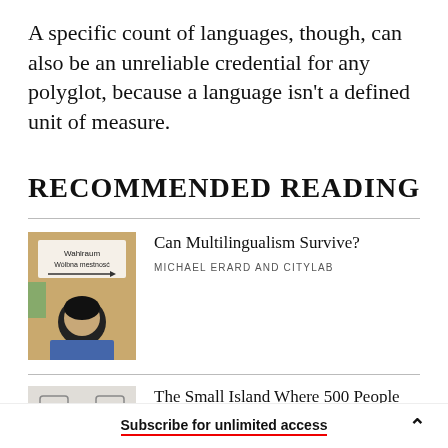A specific count of languages, though, can also be an unreliable credential for any polyglot, because a language isn't a defined unit of measure.
RECOMMENDED READING
[Figure (photo): Photo of a person near a sign reading 'Wahlraum Volbna mestnosc']
Can Multilingualism Survive?
MICHAEL ERARD AND CITYLAB
[Figure (photo): Partial photo showing two shield/crest icons on a light background]
The Small Island Where 500 People Speak Nine Different Languages
Subscribe for unlimited access